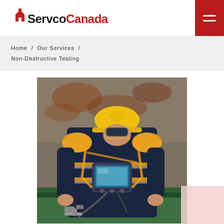ServcoCanada
Home / Our Services / Non-Destructive Testing
[Figure (photo): A worker wearing a yellow hard hat and navy/yellow high-visibility jacket using a handheld inspection device (videoscope/borescope) on a metal surface. The worker is leaning over equipment near a corroded metal wall.]